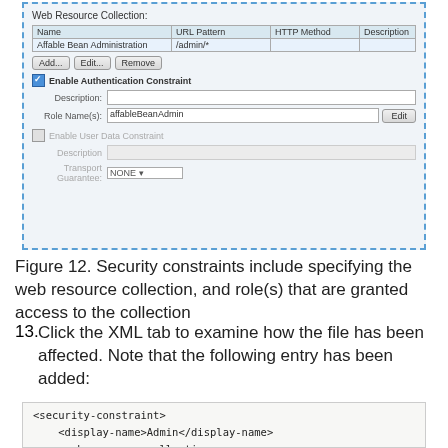[Figure (screenshot): NetBeans IDE web resource collection security constraint configuration panel showing a table with columns Name, URL Pattern, HTTP Method, Description; a row 'Affable Bean Administration /admin/*'; Add/Edit/Remove buttons; Enable Authentication Constraint checkbox checked; Description field; Role Name(s) field with 'affableBeanAdmin' and Edit button; Enable User Data Constraint unchecked; Description field greyed; Transport Guarantee dropdown set to NONE]
Figure 12. Security constraints include specifying the web resource collection, and role(s) that are granted access to the collection
13. Click the XML tab to examine how the file has been affected. Note that the following entry has been added:
<security-constraint>
    <display-name>Admin</display-name>
    <web-resource-collection>
        <web-resource-name>Affable Bean